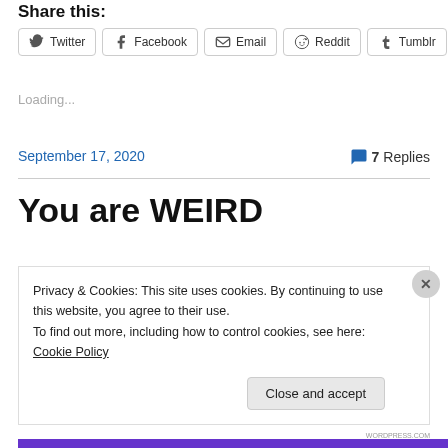Share this:
[Figure (other): Social share buttons: Twitter, Facebook, Email, Reddit, Tumblr]
Loading...
September 17, 2020
7 Replies
You are WEIRD
Privacy & Cookies: This site uses cookies. By continuing to use this website, you agree to their use.
To find out more, including how to control cookies, see here: Cookie Policy
Close and accept